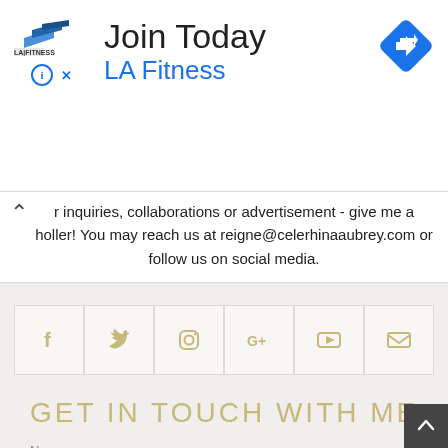[Figure (screenshot): LA Fitness advertisement banner with logo, 'Join Today' heading, 'LA Fitness' subheading in blue, and a navigation/directions icon in blue diamond shape]
r inquiries, collaborations or advertisement - give me a holler! You may reach us at reigne@celerhinaaubrey.com or follow us on social media.
[Figure (infographic): Row of six social media icon boxes: Facebook (f), Twitter (bird), Instagram (camera), Google+ (G+), YouTube (play), Email (envelope)]
GET IN TOUCH WITH ME
Name
[Figure (screenshot): Name input field for contact form]